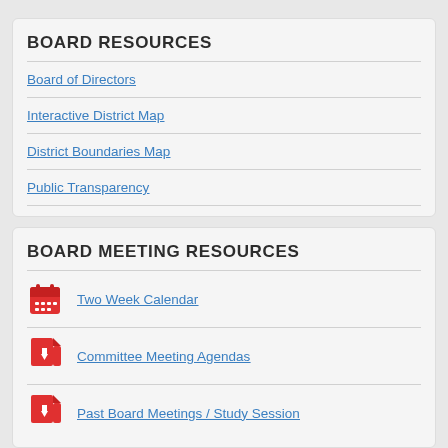BOARD RESOURCES
Board of Directors
Interactive District Map
District Boundaries Map
Public Transparency
BOARD MEETING RESOURCES
Two Week Calendar
Committee Meeting Agendas
Past Board Meetings / Study Session